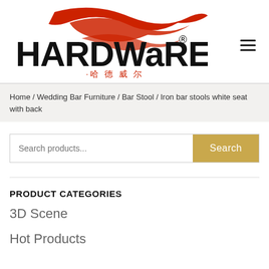[Figure (logo): Hardware brand logo with red swoosh graphic, bold black text 'HARDWARE' with registered trademark symbol, and red Chinese characters '·哈德威尔']
Home / Wedding Bar Furniture / Bar Stool / Iron bar stools white seat with back
Search products...
PRODUCT CATEGORIES
3D Scene
Hot Products